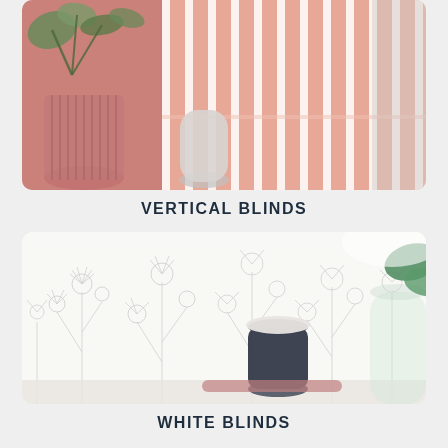[Figure (photo): Photo of pink vertical window blinds with decorative vases and green plant in foreground]
VERTICAL BLINDS
[Figure (photo): Photo of white roller blind with delicate floral/botanical line drawing pattern, with a dark candle jar and green plant visible]
WHITE BLINDS